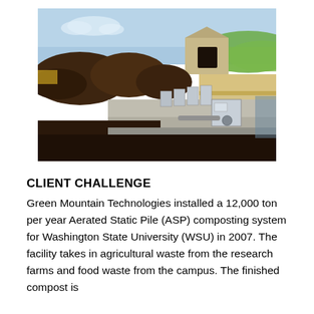[Figure (photo): Outdoor composting facility with large dark compost piles and rows of aerated static pile equipment (silver metal blowers/fans) along a concrete pad, with a beige building and green hills in the background under a blue sky.]
CLIENT CHALLENGE
Green Mountain Technologies installed a 12,000 ton per year Aerated Static Pile (ASP) composting system for Washington State University (WSU) in 2007. The facility takes in agricultural waste from the research farms and food waste from the campus. The finished compost is